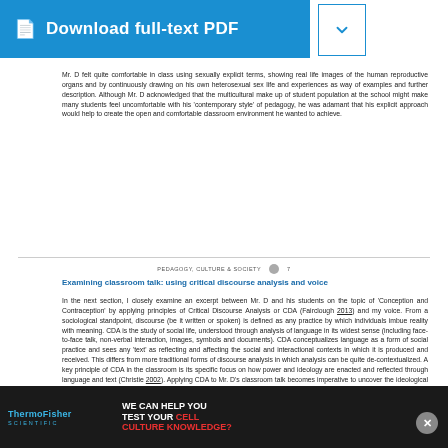[Figure (other): Blue download full-text PDF button with document icon]
Mr. D felt quite comfortable in class using sexually explicit terms, showing real life images of the human reproductive organs and by continuously drawing on his own heterosexual sex life and experiences as way of examples and further description. Although Mr. D acknowledged that the multicultural make up of student population at the school might make many students feel uncomfortable with his 'contemporary style' of pedagogy, he was adamant that his explicit approach would help to create the open and comfortable classroom environment he wanted to achieve.
PEDAGOGY, CULTURE & SOCIETY  7
Examining classroom talk: using critical discourse analysis and voice
In the next section, I closely examine an excerpt between Mr. D and his students on the topic of 'Conception and Contraception' by applying principles of Critical Discourse Analysis or CDA (Fairclough 2013) and my voice. From a sociological standpoint, discourse (be it written or spoken) is defined as any practice by which individuals imbue reality with meaning. CDA is the study of social life, understood through analysis of language in its widest sense (including face-to-face talk, non-verbal interaction, images, symbols and documents). CDA conceptualizes language as a form of social practice and sees any 'text' as reflecting and affecting the social and interactional contexts in which it is produced and received. This differs from more traditional forms of discourse analysis in which analysis can be quite de-contextualized. A key principle of CDA in the classroom is its specific focus on how power and ideology are enacted and reflected through language and text (Christie 2002). Applying CDA to Mr. D's classroom talk becomes imperative to uncover the ideological workings of Mr. D, why he produced certain
[Figure (other): Thermo Fisher Scientific advertisement banner: WE CAN HELP YOU TEST YOUR CELL CULTURE KNOWLEDGE?]